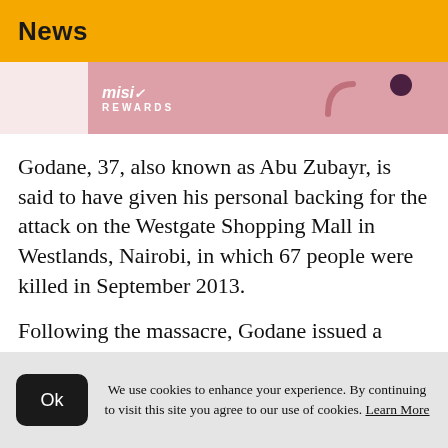News
[Figure (illustration): Advertisement banner with pink background showing 'misi REWARDS' branding and decorative shapes]
Godane, 37, also known as Abu Zubayr, is said to have given his personal backing for the attack on the Westgate Shopping Mall in Westlands, Nairobi, in which 67 people were killed in September 2013.
Following the massacre, Godane issued a statement in which he warned Kenya to brace itself for further attacks unless it withdrew its forces from Somalia.
We use cookies to enhance your experience. By continuing to visit this site you agree to our use of cookies. Learn More